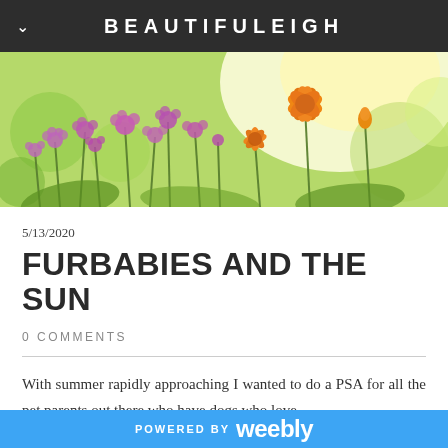BEAUTIFULEIGH
[Figure (photo): Close-up photo of purple and orange wildflowers with soft bokeh green background and bright sunlight]
5/13/2020
FURBABIES AND THE SUN
0 COMMENTS
With summer rapidly approaching I wanted to do a PSA for all the pet parents out there who have dogs who love
POWERED BY weebly